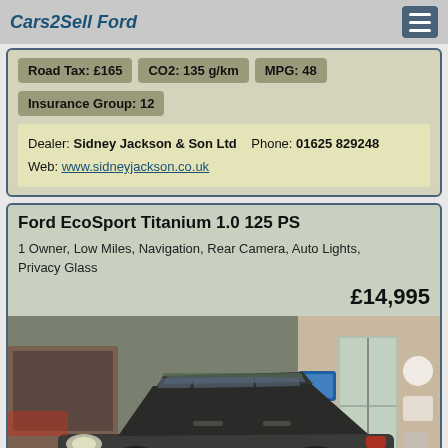Cars2Sell Ford
Road Tax: £165  CO2: 135 g/km  MPG: 48
Insurance Group: 12
Dealer: Sidney Jackson & Son Ltd   Phone: 01625 829248
Web: www.sidneyjackson.co.uk
Ford EcoSport Titanium 1.0 125 PS
1 Owner, Low Miles, Navigation, Rear Camera, Auto Lights, Privacy Glass
£14,995
[Figure (photo): Dark grey Ford EcoSport SUV parked in front of a car dealership building with brick walls and glass doors]